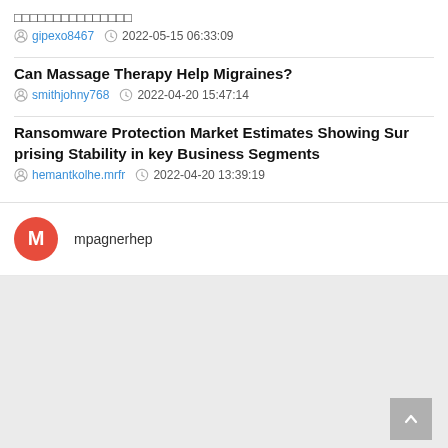□□□□□□□□□□□□□□□
gipexo8467  2022-05-15 06:33:09
Can Massage Therapy Help Migraines?
smithjohny768  2022-04-20 15:47:14
Ransomware Protection Market Estimates Showing Surprising Stability in key Business Segments
hemantkolhe.mrfr  2022-04-20 13:39:19
mpagnerhep